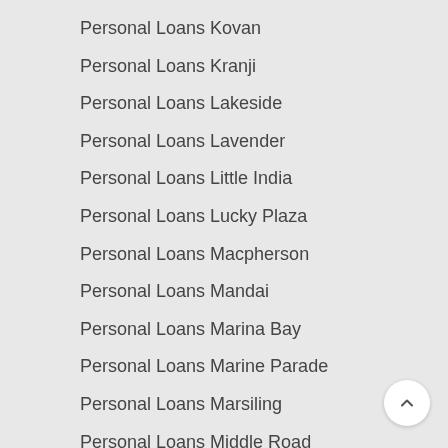Personal Loans Kovan
Personal Loans Kranji
Personal Loans Lakeside
Personal Loans Lavender
Personal Loans Little India
Personal Loans Lucky Plaza
Personal Loans Macpherson
Personal Loans Mandai
Personal Loans Marina Bay
Personal Loans Marine Parade
Personal Loans Marsiling
Personal Loans Middle Road